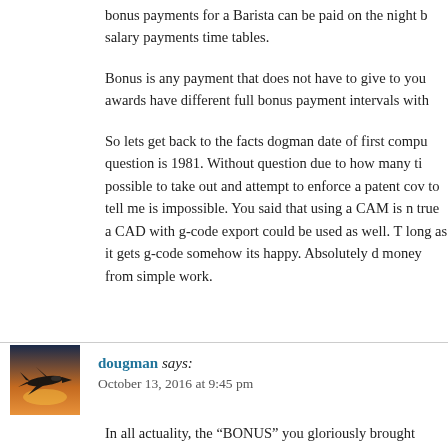bonus payments for a Barista can be paid on the night b... salary payments time tables.
Bonus is any payment that does not have to give to you... awards have different full bonus payment intervals with...
So lets get back to the facts dogman date of first compu... question is 1981. Without question due to how many ti... possible to take out and attempt to enforce a patent cov... to tell me is impossible. You said that using a CAM is n... true a CAD with g-code export could be used as well. T... long as it gets g-code somehow its happy. Absolutely d... money from simple work.
[Figure (photo): Avatar photo showing a military jet aircraft silhouette at dusk/sunset]
dougman says: October 13, 2016 at 9:45 pm
In all actuality, the “BONUS” you gloriously brought...